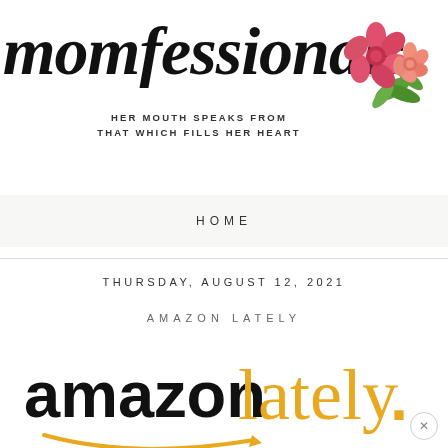momfessionals
HER MOUTH SPEAKS FROM THAT WHICH FILLS HER HEART
[Figure (illustration): Watercolor floral decoration with pink and peach flowers and green leaves]
HOME
THURSDAY, AUGUST 12, 2021
AMAZON LATELY
[Figure (logo): Amazon Lately logo: 'amazon' in bold black text and 'lately.' in gold cursive script with Amazon smile arrow beneath]